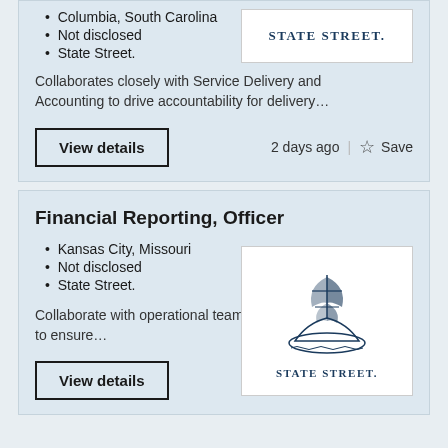Columbia, South Carolina
Not disclosed
State Street.
[Figure (logo): State Street logo with ship illustration and text STATE STREET in navy blue]
Collaborates closely with Service Delivery and Accounting to drive accountability for delivery…
2 days ago
Financial Reporting, Officer
Kansas City, Missouri
Not disclosed
State Street.
[Figure (logo): State Street logo with tall ship illustration and STATE STREET text in navy blue]
Collaborate with operational teams globally to ensure…